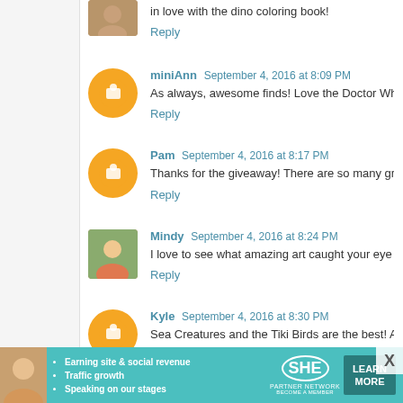in love with the dino coloring book!
Reply
miniAnn  September 4, 2016 at 8:09 PM
As always, awesome finds! Love the Doctor Who pups!
Reply
Pam  September 4, 2016 at 8:17 PM
Thanks for the giveaway! There are so many great things to
Reply
Mindy  September 4, 2016 at 8:24 PM
I love to see what amazing art caught your eye recently - it's
Reply
Kyle  September 4, 2016 at 8:30 PM
Sea Creatures and the Tiki Birds are the best! Along
[Figure (infographic): SHE Partner Network ad banner with photo, bullet points, logo, and Learn More button]